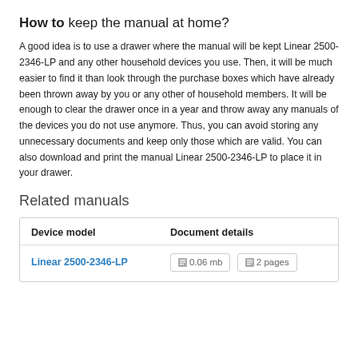How to keep the manual at home?
A good idea is to use a drawer where the manual will be kept Linear 2500-2346-LP and any other household devices you use. Then, it will be much easier to find it than look through the purchase boxes which have already been thrown away by you or any other of household members. It will be enough to clear the drawer once in a year and throw away any manuals of the devices you do not use anymore. Thus, you can avoid storing any unnecessary documents and keep only those which are valid. You can also download and print the manual Linear 2500-2346-LP to place it in your drawer.
Related manuals
| Device model | Document details |
| --- | --- |
| Linear 2500-2346-LP | 0.06 mb  2 pages |